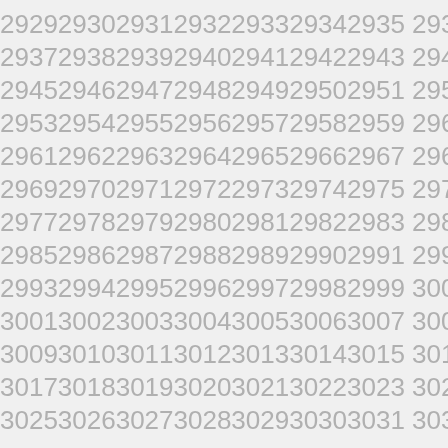2929 2930 2931 2932 2933 2934 2935 2936
2937 2938 2939 2940 2941 2942 2943 2944
2945 2946 2947 2948 2949 2950 2951 2952
2953 2954 2955 2956 2957 2958 2959 2960
2961 2962 2963 2964 2965 2966 2967 2968
2969 2970 2971 2972 2973 2974 2975 2976
2977 2978 2979 2980 2981 2982 2983 2984
2985 2986 2987 2988 2989 2990 2991 2992
2993 2994 2995 2996 2997 2998 2999 3000
3001 3002 3003 3004 3005 3006 3007 3008
3009 3010 3011 3012 3013 3014 3015 3016
3017 3018 3019 3020 3021 3022 3023 3024
3025 3026 3027 3028 3029 3030 3031 3032